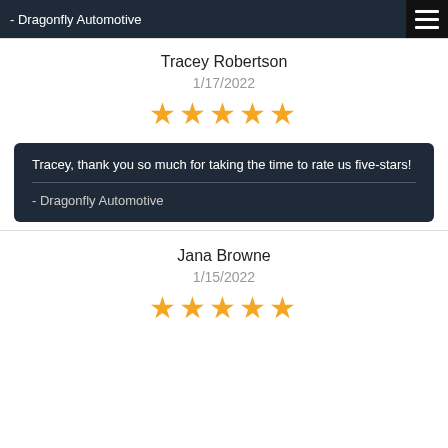- Dragonfly Automotive
Tracey Robertson
1/17/2022
[Figure (other): 5 gold stars rating]
Tracey, thank you so much for taking the time to rate us five-stars!
- Dragonfly Automotive
Jana Browne
1/15/2022
[Figure (other): 5 gold stars rating]